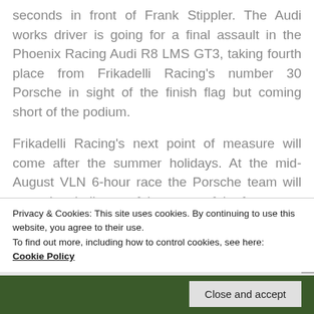seconds in front of Frank Stippler. The Audi works driver is going for a final assault in the Phoenix Racing Audi R8 LMS GT3, taking fourth place from Frikadelli Racing's number 30 Porsche in sight of the finish flag but coming short of the podium.
Frikadelli Racing's next point of measure will come after the summer holidays. At the mid-August VLN 6-hour race the Porsche team will meet the challenge of the return of the factory
Privacy & Cookies: This site uses cookies. By continuing to use this website, you agree to their use.
To find out more, including how to control cookies, see here:
Cookie Policy
Close and accept
[Figure (photo): Partial view of green trees or foliage at the bottom of the page]